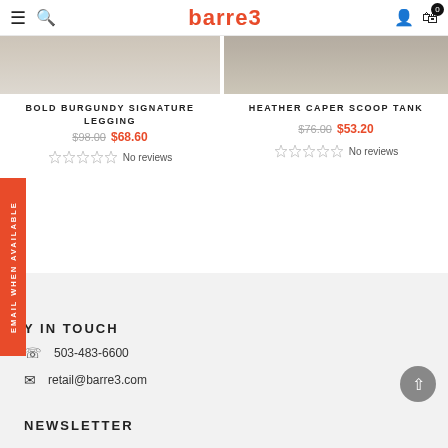barre3
[Figure (photo): Product photo of Bold Burgundy Signature Legging - feet and lower legs visible]
BOLD BURGUNDY SIGNATURE LEGGING
$98.00 $68.60 No reviews
[Figure (photo): Product photo of Heather Caper Scoop Tank - torso visible]
HEATHER CAPER SCOOP TANK
$76.00 $53.20 No reviews
EMAIL WHEN AVAILABLE
Y IN TOUCH
503-483-6600
retail@barre3.com
NEWSLETTER